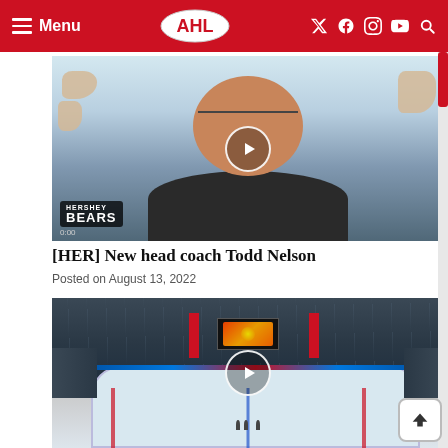AHL Menu navigation bar with logo and social icons
[Figure (screenshot): Video thumbnail of Hershey Bears new head coach Todd Nelson smiling, with Hershey Bears logo in lower left corner and a play button overlay]
[HER] New head coach Todd Nelson
Posted on August 13, 2022
[Figure (photo): Video thumbnail of an ice hockey arena interior showing the ice rink from above with lights and a jumbotron displaying fireworks, with a play button overlay]